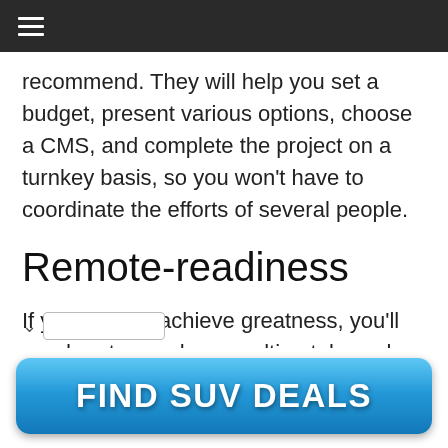≡
recommend. They will help you set a budget, present various options, choose a CMS, and complete the project on a turnkey basis, so you won't have to coordinate the efforts of several people.
Remote-readiness
If you want to achieve greatness, you'll need partners who can ultimately work remotely. Make sure your potential partner has worked on remote development projects before.
[Figure (other): Advertisement button: FIND SUV DEALS]